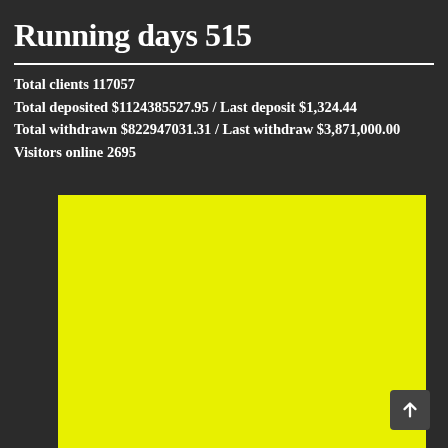Running days 515
Total clients 117057
Total deposited $1124385527.95 / Last deposit $1,324.44
Total withdrawn $822947031.31 / Last withdraw $3,871,000.00
Visitors online 2695
[Figure (other): Large solid yellow rectangle, likely an advertisement or banner placeholder]